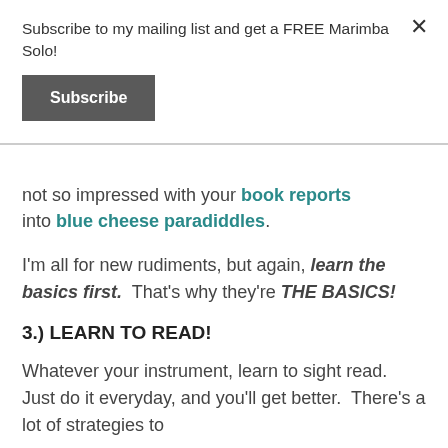Subscribe to my mailing list and get a FREE Marimba Solo!
Subscribe
not so impressed with your book reports into blue cheese paradiddles.
I'm all for new rudiments, but again, learn the basics first.  That's why they're THE BASICS!
3.) LEARN TO READ!
Whatever your instrument, learn to sight read.  Just do it everyday, and you'll get better.  There's a lot of strategies to